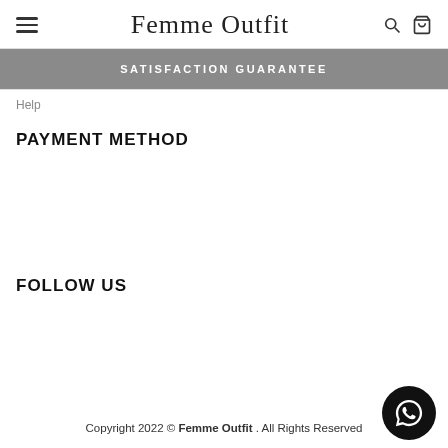Femme Outfit
SATISFACTION GUARANTEE
Help
PAYMENT METHOD
FOLLOW US
Copyright 2022 © Femme Outfit . All Rights Reserved